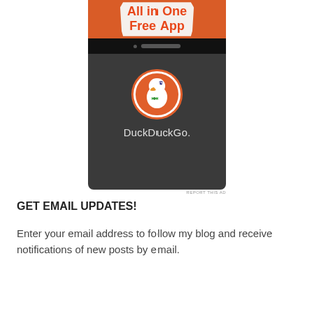[Figure (screenshot): DuckDuckGo app advertisement showing 'All in One Free App' text on an orange background at top, and a dark smartphone screen displaying the DuckDuckGo duck logo and 'DuckDuckGo.' branding below]
REPORT THIS AD
GET EMAIL UPDATES!
Enter your email address to follow my blog and receive notifications of new posts by email.